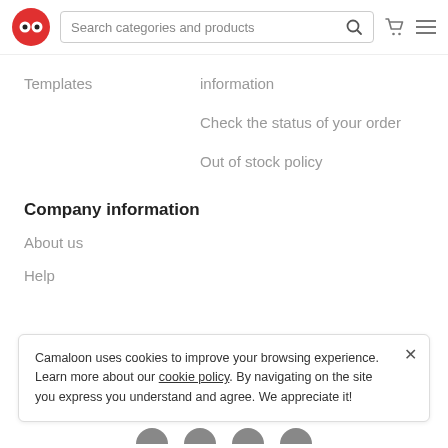Search categories and products
Templates
information
Check the status of your order
Out of stock policy
Company information
About us
Help
Camaloon uses cookies to improve your browsing experience. Learn more about our cookie policy. By navigating on the site you express you understand and agree. We appreciate it!